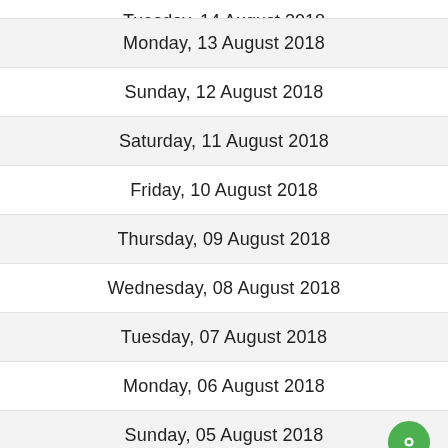Tuesday, 14 August 2018
Monday, 13 August 2018
Sunday, 12 August 2018
Saturday, 11 August 2018
Friday, 10 August 2018
Thursday, 09 August 2018
Wednesday, 08 August 2018
Tuesday, 07 August 2018
Monday, 06 August 2018
Sunday, 05 August 2018
Saturday, 04 August 2018